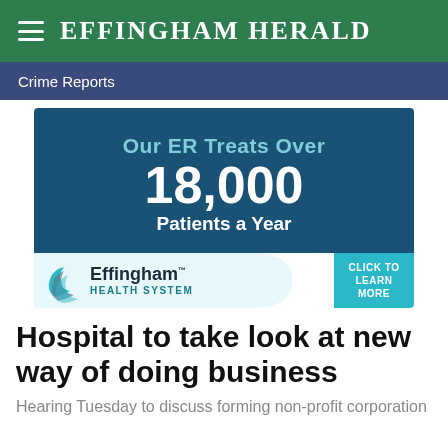Effingham Herald
Crime Reports
[Figure (infographic): Effingham Health System advertisement: 'Our ER Treats Over 18,000 Patients a Year' with Effingham Health System logo and 'Click To Learn More' button]
Hospital to take look at new way of doing business
Hearing Tuesday to discuss forming non-profit corporation